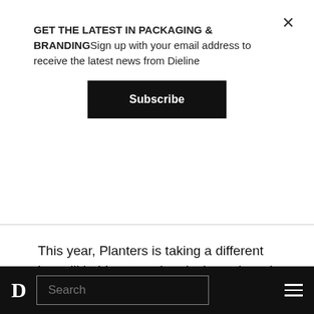GET THE LATEST IN PACKAGING & BRANDINGSign up with your email address to receive the latest news from Dieline
Subscribe
This year, Planters is taking a different but still bold approach to its latest brand refresh, working with the talented folks at Jones Knowles Ritchie.
[Figure (photo): Row of Planters branded blue canisters with yellow logo text on the lids, viewed from above at an angle.]
Search